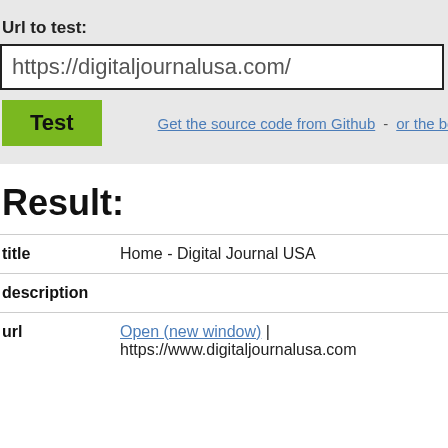Url to test:
https://digitaljournalusa.com/
Test   Get the source code from Github - or the booki
Result:
|  |  |
| --- | --- |
| title | Home - Digital Journal USA |
| description |  |
| url | Open (new window) | https://www.digitaljournalusa.com |